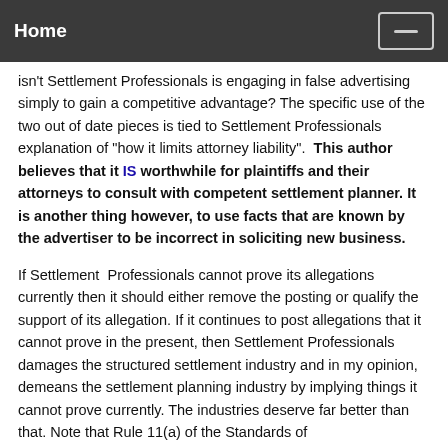Home
isn't Settlement Professionals is engaging in false advertising simply to gain a competitive advantage? The specific use of the two out of date pieces is tied to Settlement Professionals explanation of "how it limits attorney liability".  This author believes that it IS worthwhile for plaintiffs and their attorneys to consult with competent settlement planner. It is another thing however, to use facts that are known by the advertiser to be incorrect in soliciting new business.
If Settlement  Professionals cannot prove its allegations currently then it should either remove the posting or qualify the support of its allegation. If it continues to post allegations that it cannot prove in the present, then Settlement Professionals damages the structured settlement industry and in my opinion, demeans the settlement planning industry by implying things it cannot prove currently. The industries deserve far better than that. Note that Rule 11(a) of the Standards of